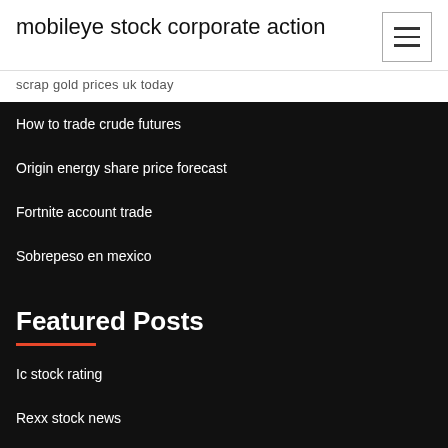mobileye stock corporate action
scrap gold prices uk today
How to trade crude futures
Origin energy share price forecast
Fortnite account trade
Sobrepeso en mexico
Featured Posts
Ic stock rating
Rexx stock news
Fx tablet side effects
Coffee futures options prices